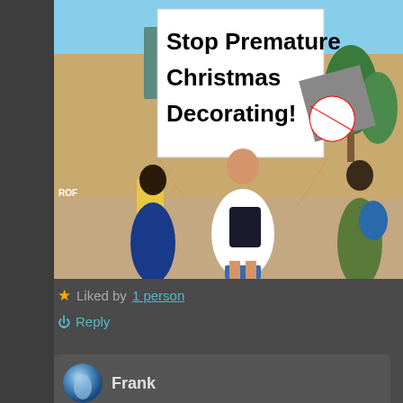[Figure (photo): Outdoor photo of a person holding a large sign overhead that reads 'Stop Premature Christmas Decorating!' in bold black text. There is also another sign with a no symbol visible in the background. Multiple people and a building are visible in the background.]
★ Liked by 1 person
⏻ Reply
Frank